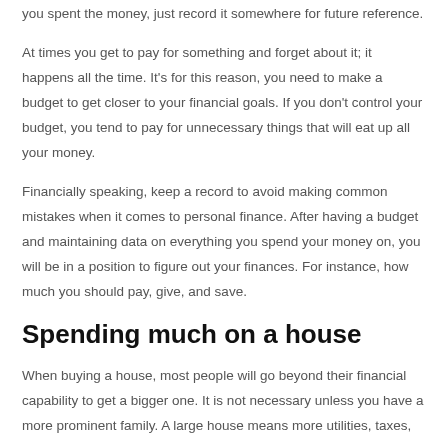you spent the money, just record it somewhere for future reference.
At times you get to pay for something and forget about it; it happens all the time. It's for this reason, you need to make a budget to get closer to your financial goals. If you don't control your budget, you tend to pay for unnecessary things that will eat up all your money.
Financially speaking, keep a record to avoid making common mistakes when it comes to personal finance. After having a budget and maintaining data on everything you spend your money on, you will be in a position to figure out your finances. For instance, how much you should pay, give, and save.
Spending much on a house
When buying a house, most people will go beyond their financial capability to get a bigger one. It is not necessary unless you have a more prominent family. A large house means more utilities, taxes,